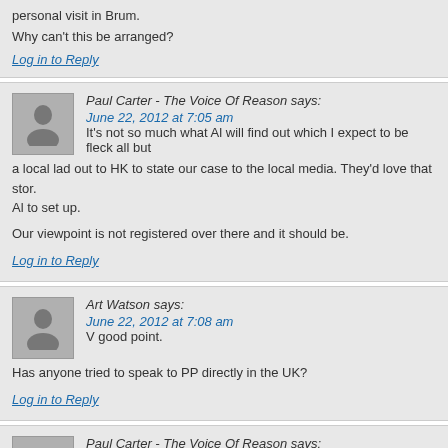personal visit in Brum.
Why can't this be arranged?
Log in to Reply
Paul Carter - The Voice Of Reason says:
June 22, 2012 at 7:05 am
It's not so much what Al will find out which I expect to be fleck all but a local lad out to HK to state our case to the local media. They'd love that stor. Al to set up.
Our viewpoint is not registered over there and it should be.
Log in to Reply
Art Watson says:
June 22, 2012 at 7:08 am
V good point.
Has anyone tried to speak to PP directly in the UK?
Log in to Reply
Paul Carter - The Voice Of Reason says:
June 22, 2012 at 8:47 am